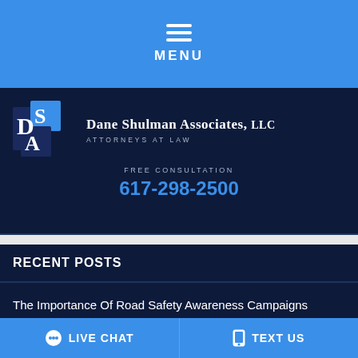MENU
[Figure (logo): Dane Shulman Associates, LLC logo with DSA monogram in blue and white]
DANE SHULMAN ASSOCIATES, LLC
ATTORNEYS AT LAW
FREE CONSULTATION
617-298-2500
RECENT POSTS
The Importance Of Road Safety Awareness Campaigns
LIVE CHAT   TEXT US